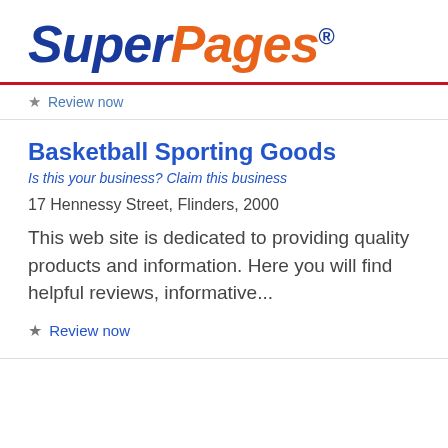[Figure (logo): SuperPages logo with 'Super' in dark blue italic and 'Pages' in orange italic, followed by a registered trademark symbol]
★ Review now
Basketball Sporting Goods
Is this your business? Claim this business
17 Hennessy Street, Flinders, 2000
This web site is dedicated to providing quality products and information. Here you will find helpful reviews, informative...
★ Review now